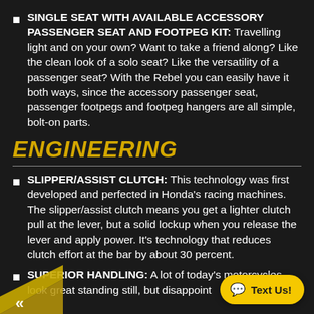SINGLE SEAT WITH AVAILABLE ACCESSORY PASSENGER SEAT AND FOOTPEG KIT: Travelling light and on your own? Want to take a friend along? Like the clean look of a solo seat? Like the versatility of a passenger seat? With the Rebel you can easily have it both ways, since the accessory passenger seat, passenger footpegs and footpeg hangers are all simple, bolt-on parts.
ENGINEERING
SLIPPER/ASSIST CLUTCH: This technology was first developed and perfected in Honda's racing machines. The slipper/assist clutch means you get a lighter clutch pull at the lever, but a solid lockup when you release the lever and apply power. It's technology that reduces clutch effort at the bar by about 30 percent.
SUPERIOR HANDLING: A lot of today's motorcycles look great standing still, but disappoint